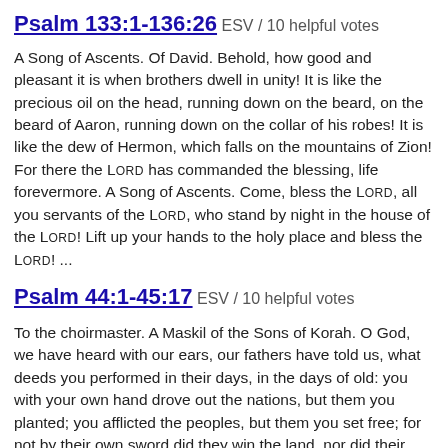Psalm 133:1-136:26 ESV / 10 helpful votes
A Song of Ascents. Of David. Behold, how good and pleasant it is when brothers dwell in unity! It is like the precious oil on the head, running down on the beard, on the beard of Aaron, running down on the collar of his robes! It is like the dew of Hermon, which falls on the mountains of Zion! For there the LORD has commanded the blessing, life forevermore. A Song of Ascents. Come, bless the LORD, all you servants of the LORD, who stand by night in the house of the LORD! Lift up your hands to the holy place and bless the LORD! ...
Psalm 44:1-45:17 ESV / 10 helpful votes
To the choirmaster. A Maskil of the Sons of Korah. O God, we have heard with our ears, our fathers have told us, what deeds you performed in their days, in the days of old: you with your own hand drove out the nations, but them you planted; you afflicted the peoples, but them you set free; for not by their own sword did they win the land, nor did their own arm save them, but your right hand and your arm, and the light of your face, for you